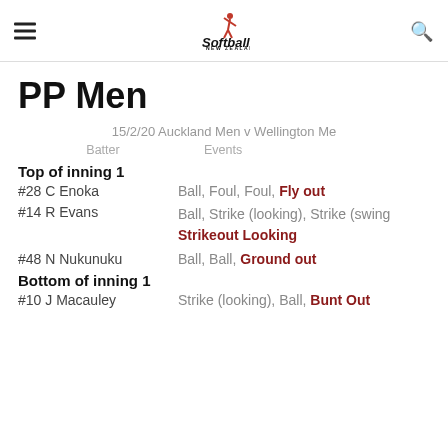Softball New Zealand
PP Men
15/2/20 Auckland Men v Wellington Me
Batter   Events
Top of inning 1
#28 C Enoka — Ball, Foul, Foul, Fly out
#14 R Evans — Ball, Strike (looking), Strike (swing), Strikeout Looking
#48 N Nukunuku — Ball, Ball, Ground out
Bottom of inning 1
#10 J Macauley — Strike (looking), Ball, Bunt Out